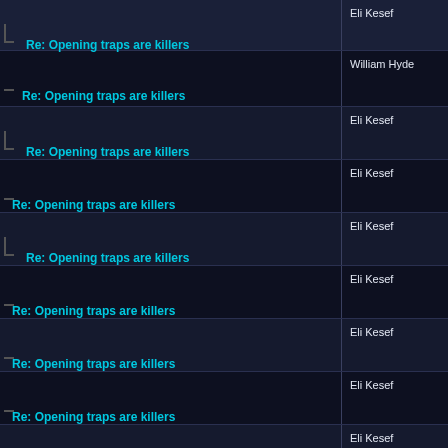Re: Opening traps are killers — Eli Kesef
Re: Opening traps are killers — William Hyde
Re: Opening traps are killers — Eli Kesef
Re: Opening traps are killers — Eli Kesef
Re: Opening traps are killers — Eli Kesef
Re: Opening traps are killers — Eli Kesef
Re: Opening traps are killers — Eli Kesef
Re: Opening traps are killers — Eli Kesef
Re: Opening traps are killers — Eli Kesef